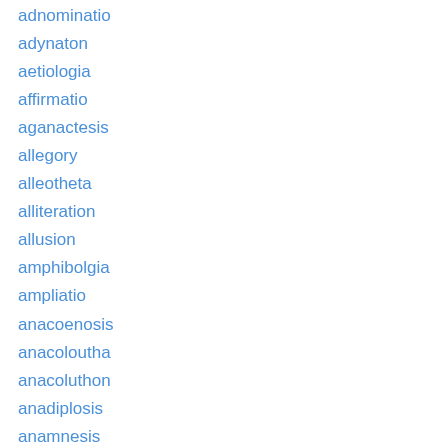adnominatio
adynaton
aetiologia
affirmatio
aganactesis
allegory
alleotheta
alliteration
allusion
amphibolgia
ampliatio
anacoenosis
anacoloutha
anacoluthon
anadiplosis
anamnesis
anantapodoton
anaphora
anapodoton